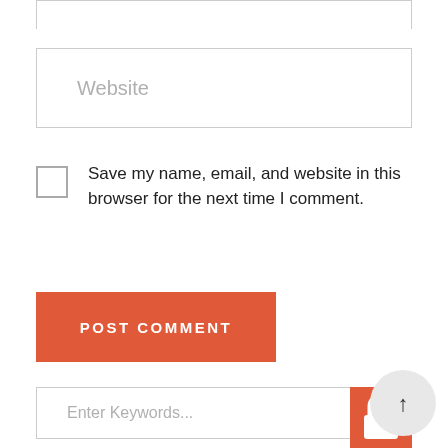[Figure (screenshot): Partial input field at top of page (cropped)]
Website
Save my name, email, and website in this browser for the next time I comment.
POST COMMENT
Enter Keywords...
[Figure (infographic): Orange search icon block with lock icon and scroll-to-top button]